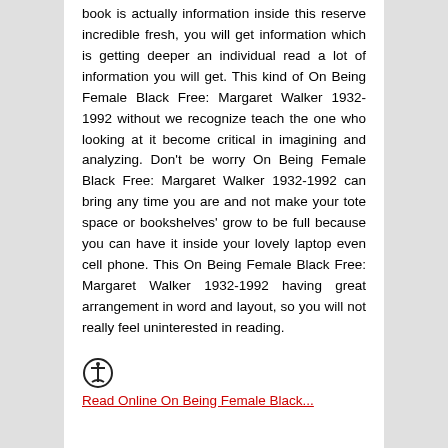book is actually information inside this reserve incredible fresh, you will get information which is getting deeper an individual read a lot of information you will get. This kind of On Being Female Black Free: Margaret Walker 1932-1992 without we recognize teach the one who looking at it become critical in imagining and analyzing. Don't be worry On Being Female Black Free: Margaret Walker 1932-1992 can bring any time you are and not make your tote space or bookshelves' grow to be full because you can have it inside your lovely laptop even cell phone. This On Being Female Black Free: Margaret Walker 1932-1992 having great arrangement in word and layout, so you will not really feel uninterested in reading.
[Figure (logo): Circular icon/logo with an anchor or similar symbol inside]
Read Online On Being Female Black...